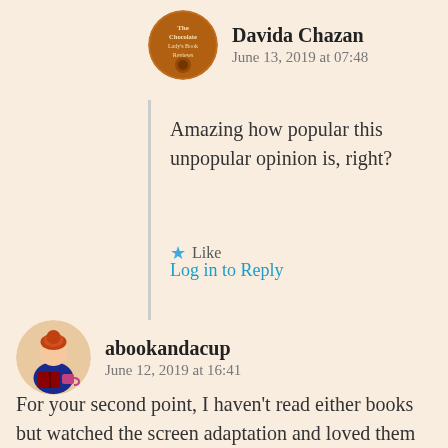[Figure (illustration): Circular avatar for Davida Chazan - The Chocolate Lady's Book Reviews logo with chocolate/brown tones]
Davida Chazan
June 13, 2019 at 07:48
Amazing how popular this unpopular opinion is, right?
Like
Log in to Reply
[Figure (illustration): Circular avatar for abookandacup - illustrated character of a woman reading with red hair]
abookandacup
June 12, 2019 at 16:41
For your second point, I haven't read either books but watched the screen adaptation and loved them both. I'm a huge fan of Miss